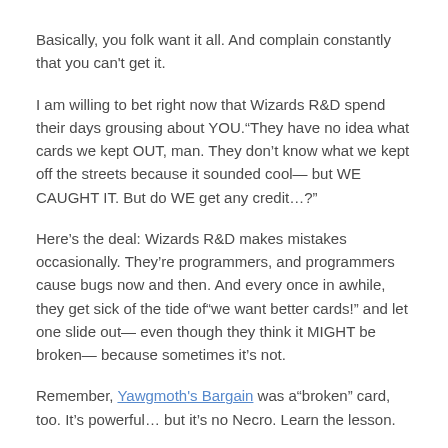Basically, you folk want it all. And complain constantly that you can't get it.
I am willing to bet right now that Wizards R&D spend their days grousing about YOU.“They have no idea what cards we kept OUT, man. They don’t know what we kept off the streets because it sounded cool— but WE CAUGHT IT. But do WE get any credit…?”
Here’s the deal: Wizards R&D makes mistakes occasionally. They’re programmers, and programmers cause bugs now and then. And every once in awhile, they get sick of the tide of“we want better cards!” and let one slide out— even though they think it MIGHT be broken— because sometimes it’s not.
Remember, Yawgmoth's Bargain was a“broken” card, too. It’s powerful… but it’s no Necro. Learn the lesson.
3) WIZARDS ARE POWER-MAD TYRANTS. In this you are correct…. but you give them no reason NOT to be. There are two reasons for this: